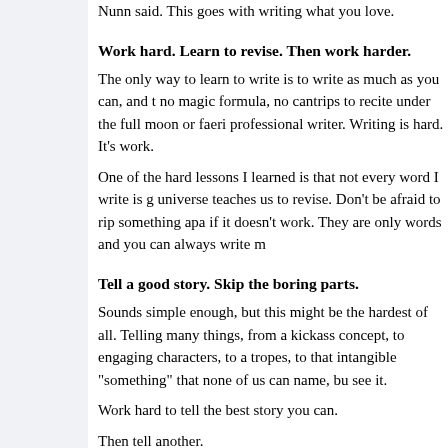Nunn said. This goes with writing what you love.
Work hard. Learn to revise. Then work harder.
The only way to learn to write is to write as much as you can, and there is no magic formula, no cantrips to recite under the full moon or faerie dust to become a professional writer. Writing is hard. It's work.
One of the hard lessons I learned is that not every word I write is golden. The universe teaches us to revise. Don't be afraid to rip something apart and start over if it doesn't work. They are only words and you can always write more.
Tell a good story. Skip the boring parts.
Sounds simple enough, but this might be the hardest of all. Telling a good story is many things, from a kickass concept, to engaging characters, to avoiding clichéd tropes, to that intangible "something" that none of us can name, but all of us recognize when we see it.
Work hard to tell the best story you can.
Then tell another.
Jaime Lee Moyer lives in San Antonio with writer Marshall Payne,